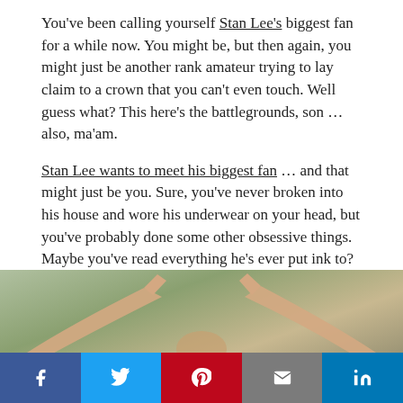You've been calling yourself Stan Lee's biggest fan for a while now. You might be, but then again, you might just be another rank amateur trying to lay claim to a crown that you can't even touch. Well guess what? This here's the battlegrounds, son … also, ma'am.
Stan Lee wants to meet his biggest fan … and that might just be you. Sure, you've never broken into his house and wore his underwear on your head, but you've probably done some other obsessive things. Maybe you've read everything he's ever put ink to? Maybe you have a Stan Lee tattoo over your heart? On your face? Or you watched an entire episode of Stripperella? If so, Stan wants to hear about it.
Teaming POW! Entertainment with LiveJournal, Stan Lee is holding an essay contest wherein you get to detail just what makes you his biggest fan. Now this isn't some sissy-ass contest where you tell him about how he inspired you to do something with your life or to walk again, so leave the sentimental crap out of it … unless you think you can win with it …
[Figure (photo): Photo of a person with arms outstretched, fingers pointing outward, seen from below against a blurred outdoor background. Social media share buttons (Facebook, Twitter, Pinterest, Email, LinkedIn) overlaid at the bottom of the image.]